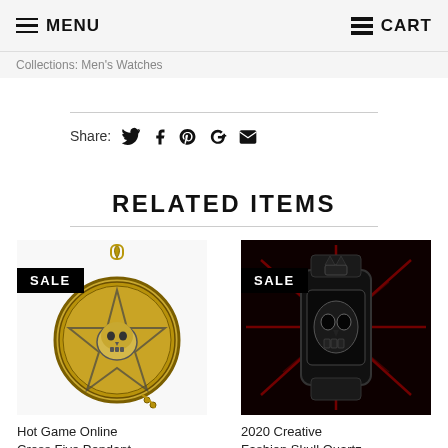MENU    CART
Collections: Men's Watches
Share:
RELATED ITEMS
[Figure (photo): Skull Cross Five Pendant pocket watch with bronze star and skull design, SALE badge]
[Figure (photo): 2020 Creative Fashion Skull Quartz watch, dark with red background and skull face, SALE badge]
Hot Game Online Cross Five Pendant
2020 Creative Fashion Skull Quartz